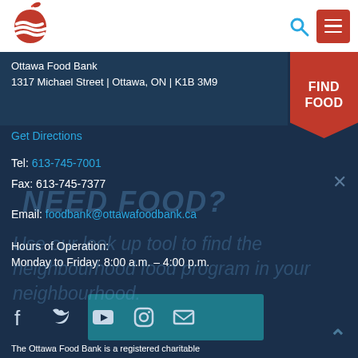[Figure (logo): Ottawa Food Bank logo - red apple with white wave stripes]
Ottawa Food Bank | 1317 Michael Street | Ottawa, ON | K1B 3M9
Get Directions
FIND FOOD
Tel: 613-745-7001
Fax: 613-745-7377
Email: foodbank@ottawafoodbank.ca
Hours of Operation:
Monday to Friday: 8:00 a.m. – 4:00 p.m.
NEED FOOD?
Use our look up tool to find the neighbourhood food program in your neighbourhood.
[Figure (other): Social media icons: Facebook, Twitter, YouTube, Instagram, Email]
The Ottawa Food Bank is a registered charitable